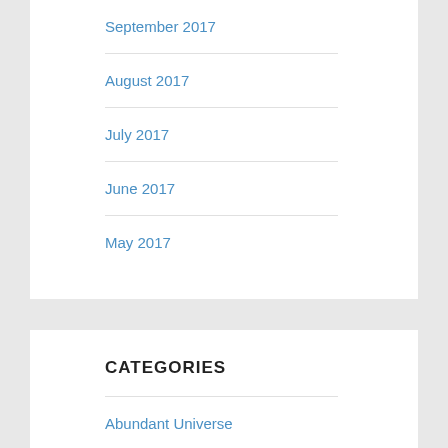September 2017
August 2017
July 2017
June 2017
May 2017
CATEGORIES
Abundant Universe
Aesop
Analogy